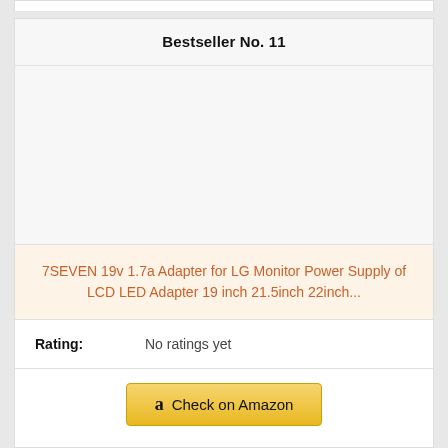Bestseller No. 11
[Figure (photo): Product image placeholder area (empty/white)]
7SEVEN 19v 1.7a Adapter for LG Monitor Power Supply of LCD LED Adapter 19 inch 21.5inch 22inch...
Rating: No ratings yet
Check on Amazon